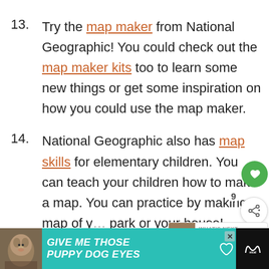13. Try the map maker from National Geographic! You could check out the map maker kits too to learn some new things or get some inspiration on how you could use the map maker.
14. National Geographic also has map skills for elementary children. You can teach your children how to make a map. You can practice by making a map of your park or your house!
[Figure (screenshot): UI overlay showing a green heart/save button, share button with count 9, and a 'What's Next' card showing '20+ Free Homeschool...']
[Figure (photo): Advertisement banner with teal background showing a dog photo and text 'GIVE ME THOSE PUPPY DOG EYES' with a close button]